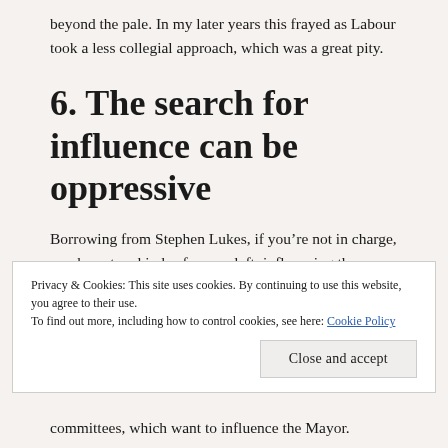beyond the pale. In my later years this frayed as Labour took a less collegial approach, which was a great pity.
6. The search for influence can be oppressive
Borrowing from Stephen Lukes, if you’re not in charge, you have two kinds of power left: influencing the Mayor to adopt your proposals, and influencing the political landscape and
Privacy & Cookies: This site uses cookies. By continuing to use this website, you agree to their use.
To find out more, including how to control cookies, see here: Cookie Policy
Close and accept
committees, which want to influence the Mayor.